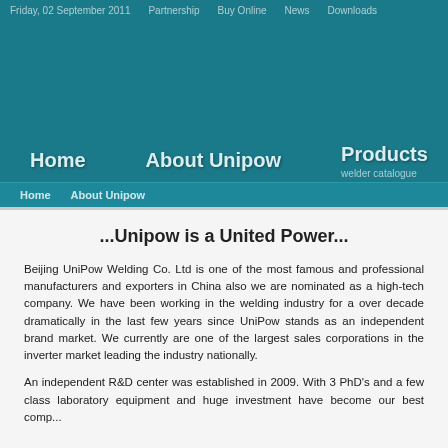Friday, 02 September 2011   Partnership   Buy Online   News   Downloads
[Figure (screenshot): Teal/blue-green hero banner area with navigation menu showing Home, About Unipow, Products (welder catalogue), and partial C menu item]
Home   About Unipow
...Unipow is a United Power...
Beijing UniPow Welding Co. Ltd is one of the most famous and professional manufacturers and exporters in China also we are nominated as a high-tech company. We have been working in the welding industry for a over decade dramatically in the last few years since UniPow stands as an independent brand market. We currently are one of the largest sales corporations in the inverter market leading the industry nationally.
An independent R&D center was established in 2009. With 3 PhD's and a few class laboratory equipment and huge investment have become our best comp...